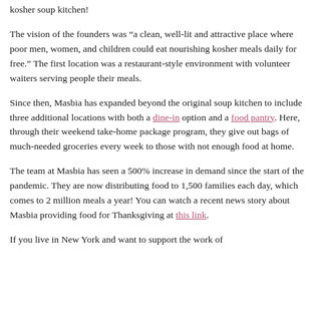kosher soup kitchen!
The vision of the founders was “a clean, well-lit and attractive place where poor men, women, and children could eat nourishing kosher meals daily for free.” The first location was a restaurant-style environment with volunteer waiters serving people their meals.
Since then, Masbia has expanded beyond the original soup kitchen to include three additional locations with both a dine-in option and a food pantry. Here, through their weekend take-home package program, they give out bags of much-needed groceries every week to those with not enough food at home.
The team at Masbia has seen a 500% increase in demand since the start of the pandemic. They are now distributing food to 1,500 families each day, which comes to 2 million meals a year! You can watch a recent news story about Masbia providing food for Thanksgiving at this link.
If you live in New York and want to support the work of